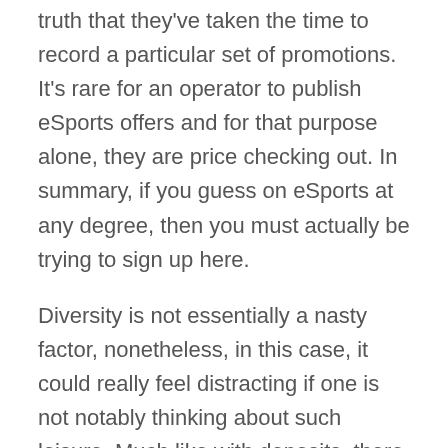truth that they've taken the time to record a particular set of promotions. It's rare for an operator to publish eSports offers and for that purpose alone, they are price checking out. In summary, if you guess on eSports at any degree, then you must actually be trying to sign up here.
Diversity is not essentially a nasty factor, nonetheless, in this case, it could really feel distracting if one is not notably thinking about such leisure. Much like with deposits, there are lots of choices in relation to withdrawing cash from 1xBet. [newline]The exact array of available methods will rely in your location. Aside from traditional sports activities, 1xBet provides betting on more peculiar events like Greyhound